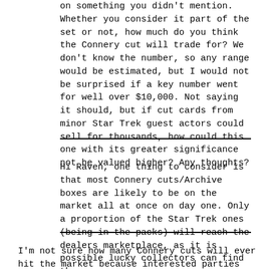on something you didn't mention. Whether you consider it part of the set or not, how much do you think the Connery cut will trade for? We don't know the number, so any range would be estimated, but I would not be surprised if a key number went for well over $10,000. Not saying it should, but if cut cards from minor Star Trek guest actors could sell for thousands, how could this one with its greater significance not be valued higher? Any thoughts?
Hi Raven, one thing to consider is that most Connery cuts/Archive boxes are likely to be on the market all at once on day one. Only a proportion of the Star Trek ones (being in the packs) will reach the dealers marketplace, as it is possible lucky collectors can find them.
I'm not sure how many Connery cuts will ever hit the market because interested parties seem to be already locking them up. If they are truly Bond card collectors they